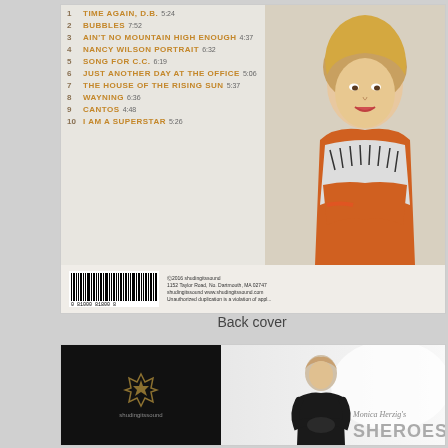[Figure (photo): CD back cover showing track listing on left side with orange/gold text numbers 1-10, and a woman with blonde hair in an orange and black/white patterned outfit on the right. Bottom has barcode and label info.]
Back cover
[Figure (photo): Two panels: left panel is black with a small crown/shield logo and text 'shudingitssound', right panel shows a woman in black outfit with text 'Monica Herzig's SHEROES' in stylized lettering]